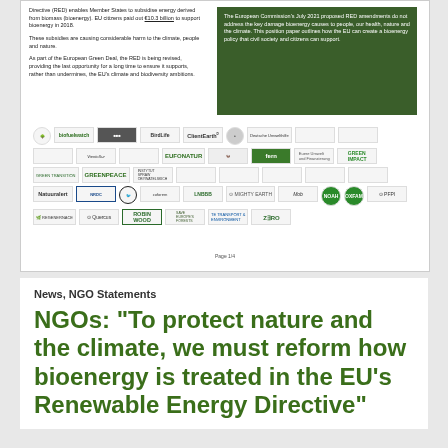[Figure (illustration): Scanned document page showing two columns of text and a large grid of NGO logos. Left column discusses EU Renewable Energy Directive and bioenergy subsidies. Right column is a green box summarizing position paper. Below are logos of signatory organizations including BirdLife, ClientEarth, Greenpeace, OXFAM, Robin Wood, NOAH, Zero, Transport & Environment, and many others. Page 1/4 shown at bottom.]
News, NGO Statements
NGOs: "To protect nature and the climate, we must reform how bioenergy is treated in the EU's Renewable Energy Directive"